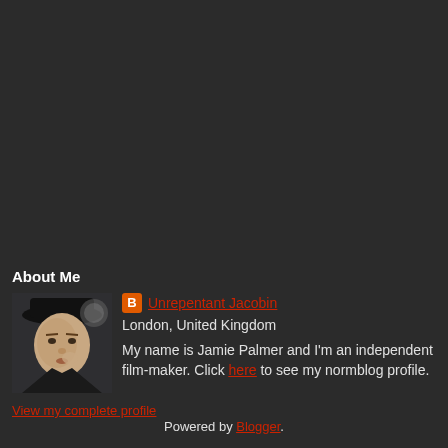About Me
[Figure (photo): Profile photo of Jamie Palmer, a young man wearing a black hat, photographed indoors.]
Unrepentant Jacobin
London, United Kingdom
My name is Jamie Palmer and I'm an independent film-maker. Click here to see my normblog profile.
View my complete profile
Powered by Blogger.